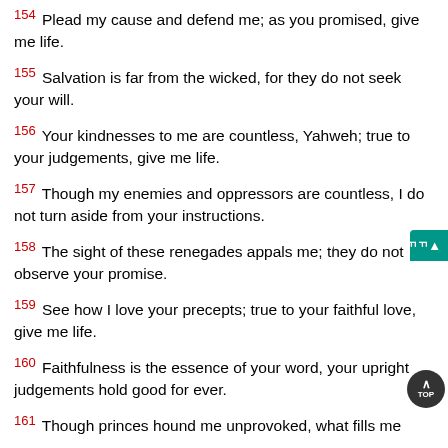154 Plead my cause and defend me; as you promised, give me life.
155 Salvation is far from the wicked, for they do not seek your will.
156 Your kindnesses to me are countless, Yahweh; true to your judgements, give me life.
157 Though my enemies and oppressors are countless, I do not turn aside from your instructions.
158 The sight of these renegades appals me; they do not observe your promise.
159 See how I love your precepts; true to your faithful love, give me life.
160 Faithfulness is the essence of your word, your upright judgements hold good for ever.
161 Though princes hound me unprovoked, what fills me with awe is your wor…
162 I rejoice in your promise like one who finds a vast treasure.
163 Falsehood I hate and detest, my love is for your law.